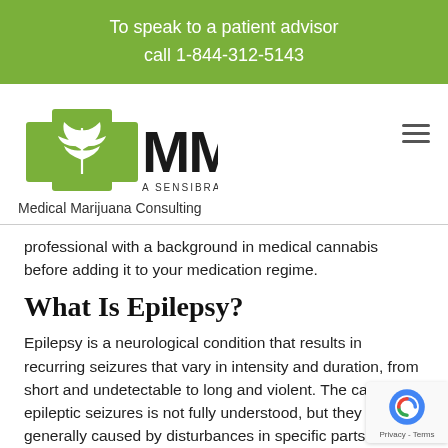To speak to a patient advisor
call 1-844-312-5143
[Figure (logo): MMC Medical Marijuana Consulting logo — green cross with cannabis leaf, bold MMC text, 'A SENSIBRANDS COMPANY' tagline]
Medical Marijuana Consulting
professional with a background in medical cannabis before adding it to your medication regime.
What Is Epilepsy?
Epilepsy is a neurological condition that results in recurring seizures that vary in intensity and duration, from short and undetectable to long and violent. The cause of epileptic seizures is not fully understood, but they are generally caused by disturbances in specific parts of the brain that increase brain activity and result in recurring